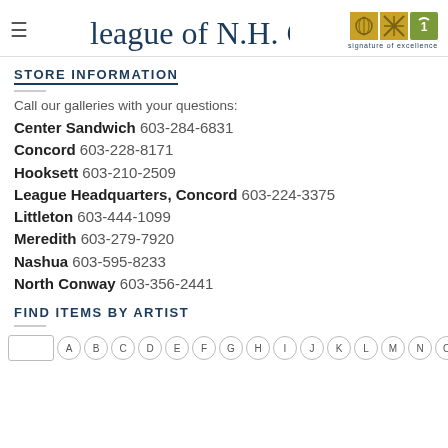League of N.H. Craftsmen — signature of excellence
STORE INFORMATION
Call our galleries with your questions:
Center Sandwich 603-284-6831
Concord 603-228-8171
Hooksett 603-210-2509
League Headquarters, Concord 603-224-3375
Littleton 603-444-1099
Meredith 603-279-7920
Nashua 603-595-8233
North Conway 603-356-2441
FIND ITEMS BY ARTIST
A B C D E F G H I J K L M N O